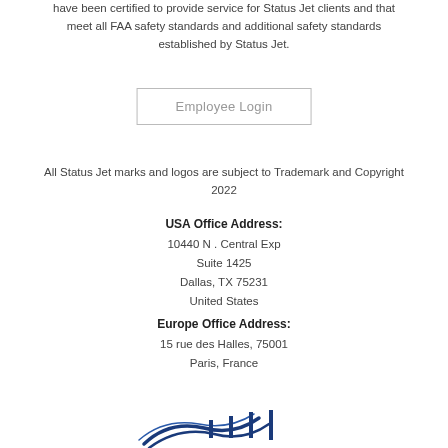have been certified to provide service for Status Jet clients and that meet all FAA safety standards and additional safety standards established by Status Jet.
Employee Login
All Status Jet marks and logos are subject to Trademark and Copyright 2022
USA Office Address:
10440 N . Central Exp
Suite 1425
Dallas, TX 75231
United States
Europe Office Address:
15 rue des Halles, 75001
Paris, France
[Figure (logo): Status Jet logo at the bottom of the page, partially visible]